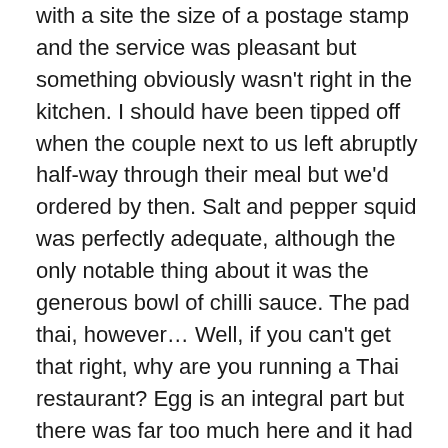with a site the size of a postage stamp and the service was pleasant but something obviously wasn't right in the kitchen. I should have been tipped off when the couple next to us left abruptly half-way through their meal but we'd ordered by then. Salt and pepper squid was perfectly adequate, although the only notable thing about it was the generous bowl of chilli sauce. The pad thai, however… Well, if you can't get that right, why are you running a Thai restaurant? Egg is an integral part but there was far too much here and it had only been sloppily tossed through the noodles meaning there were lumps of raw yolk. It was also far too sweet with the combined result that it tasted like the sort of thing and American would have for breakfast. To top it all off, the prawns were simultaneously muddy and watery. They were the type of prawns that I thought had been confined to provincial Chinese restaurants in the Eighties and had long since died a